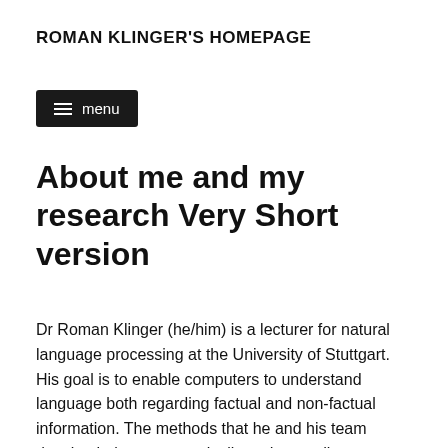ROMAN KLINGER'S HOMEPAGE
[Figure (other): Menu button with hamburger icon and 'menu' text on black background]
About me and my research Very Short version
Dr Roman Klinger (he/him) is a lecturer for natural language processing at the University of Stuttgart. His goal is to enable computers to understand language both regarding factual and non-factual information. The methods that he and his team develop help to automatically understanding biomedical scientific text and social media,